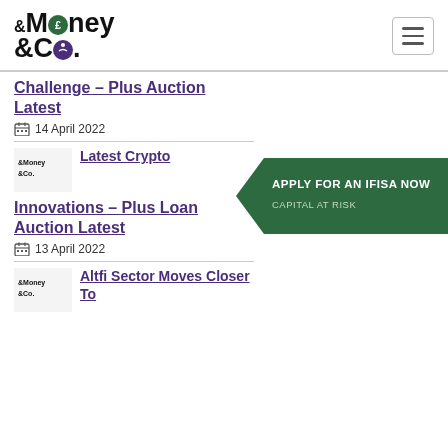Money & Co. logo and hamburger menu
Challenge – Plus Auction Latest
14 April 2022
[Figure (logo): Money & Co. small logo thumbnail]
Latest Crypto
Innovations – Plus Loan Auction Latest
13 April 2022
[Figure (logo): Money & Co. small logo thumbnail]
Altfi Sector Moves Closer To
[Figure (infographic): Apply for an IFISA NOW – Capital at Risk banner in dark green with arrow shape pointing left]